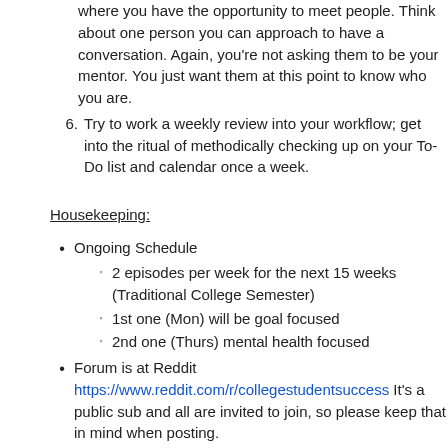where you have the opportunity to meet people. Think about one person you can approach to have a conversation. Again, you're not asking them to be your mentor. You just want them at this point to know who you are.
6. Try to work a weekly review into your workflow; get into the ritual of methodically checking up on your To-Do list and calendar once a week.
Housekeeping:
Ongoing Schedule
2 episodes per week for the next 15 weeks (Traditional College Semester)
1st one (Mon) will be goal focused
2nd one (Thurs) mental health focused
Forum is at Reddit https://www.reddit.com/r/collegestudentsuccess It's a public sub and all are invited to join, so please keep that in mind when posting.
Blog is at www.collegestudentsuccesspodcast.com